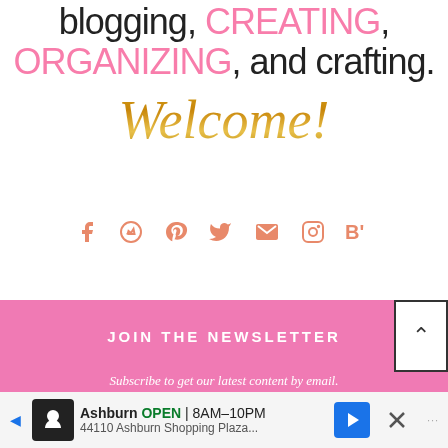blogging, CREATING, ORGANIZING, and crafting.
[Figure (illustration): Decorative cursive gold-gradient 'Welcome!' text]
[Figure (infographic): Social media icons row: Facebook, Pinterest, Twitter, Email, Instagram, Bloglovin - all in salmon/coral pink color]
JOIN THE NEWSLETTER
Subscribe to get our latest content by email.
[Figure (infographic): Back to top button with up arrow caret, white background with black border]
[Figure (infographic): Advertisement bar: Ashburn OPEN 8AM-10PM, 44110 Ashburn Shopping Plaza...]